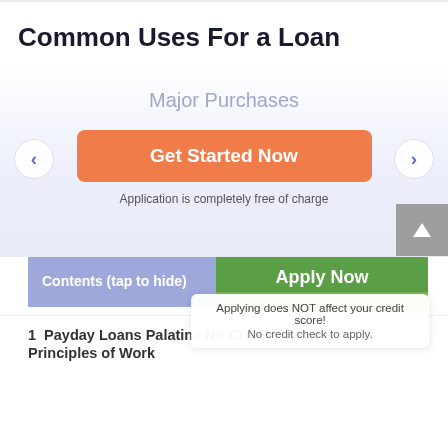Common Uses For a Loan
Major Purchases
Get Started Now
Application is completely free of charge
Contents (tap to hide)
Apply Now
Applying does NOT affect your credit score!
No credit check to apply.
1  Payday Loans Palatine No Credit Check – Principles of Work